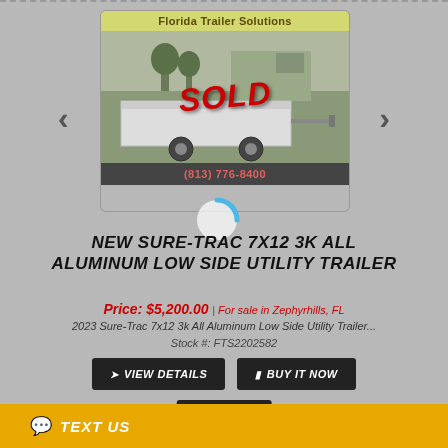[Figure (photo): Photo of a utility trailer with 'SOLD' text overlay, Florida Trailer Solutions branding, and phone number (813) 776-8400. Loading spinner partially visible.]
NEW SURE-TRAC 7X12 3K ALL ALUMINUM LOW SIDE UTILITY TRAILER
Price: $5,200.00 | For sale in Zephyrhills, FL
2023 Sure-Trac 7x12 3k All Aluminum Low Side Utility Trailer...
Stock #: FTS2202582
VIEW DETAILS
BUY IT NOW
TEXT
TEXT US